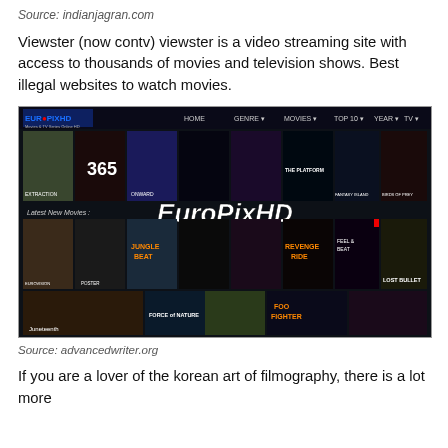Source: indianjagran.com
Viewster (now contv) viewster is a video streaming site with access to thousands of movies and television shows. Best illegal websites to watch movies.
[Figure (screenshot): Screenshot of EuroPixHD movie streaming website showing movie poster thumbnails including Extraction, 365, Onward, The Platform, Fantasy Island, Jungle Beat, Revenge Ride, Feel the Beat, Lost Bullet, and others. Large bold italic text 'EuroPixHD' overlaid in the center.]
Source: advancedwriter.org
If you are a lover of the korean art of filmography, there is a lot more